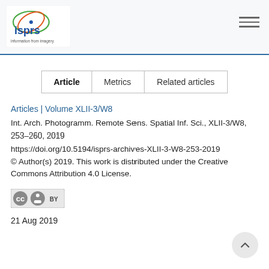[Figure (logo): ISPRS logo with text 'isprs' in blue letters and orbital rings in green and orange/red, tagline 'information from imagery']
| Article | Metrics | Related articles |
| --- | --- | --- |
Articles | Volume XLII-3/W8
Int. Arch. Photogramm. Remote Sens. Spatial Inf. Sci., XLII-3/W8, 253–260, 2019
https://doi.org/10.5194/isprs-archives-XLII-3-W8-253-2019
© Author(s) 2019. This work is distributed under the Creative Commons Attribution 4.0 License.
[Figure (logo): Creative Commons BY license badge icon]
21 Aug 2019